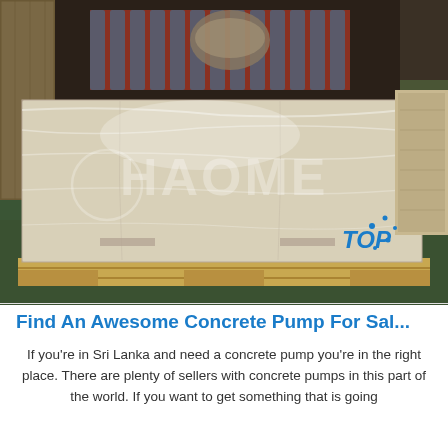[Figure (photo): A large industrial package wrapped in plastic film sitting on a wooden pallet on a factory floor with roller conveyor in the background. A watermark reading 'HAOME' is overlaid on the image.]
Find An Awesome Concrete Pump For Sa...
If you're in Sri Lanka and need a concrete pump you're in the right place. There are plenty of sellers with concrete pumps in this part of the world. If you want to get something that is going to work well for you, read below the latest news about it, and...